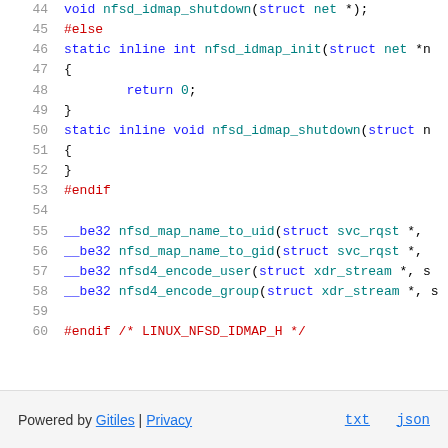[Figure (screenshot): Source code viewer showing C header file lines 44-60. Lines 44-60 of a Linux kernel NFSD idmap header file. Line 44: void nfsd_idmap_shutdown(struct net *);, Line 45: #else (red), Line 46: static inline int nfsd_idmap_init(struct net *n... (truncated), Line 47: {, Line 48: return 0;, Line 49: }, Line 50: static inline void nfsd_idmap_shutdown(struct n... (truncated), Line 51: {, Line 52: }, Line 53: #endif (red), Line 54: (blank), Line 55: __be32 nfsd_map_name_to_uid(struct svc_rqst *, ..., Line 56: __be32 nfsd_map_name_to_gid(struct svc_rqst *, ..., Line 57: __be32 nfsd4_encode_user(struct xdr_stream *, s..., Line 58: __be32 nfsd4_encode_group(struct xdr_stream *, s..., Line 59: (blank), Line 60: #endif /* LINUX_NFSD_IDMAP_H */ (red)]
Powered by Gitiles | Privacy    txt  json